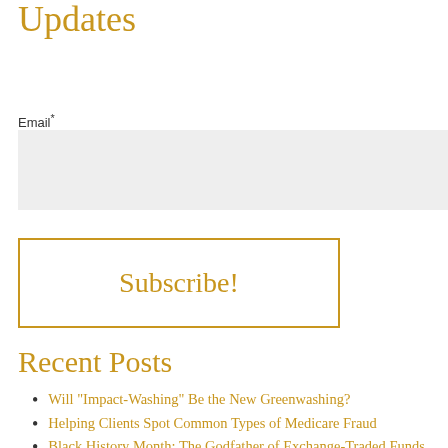Updates
Email*
Subscribe!
Recent Posts
Will "Impact-Washing" Be the New Greenwashing?
Helping Clients Spot Common Types of Medicare Fraud
Black History Month: The Godfather of Exchange-Traded Funds
Two Industry Leaders Working to